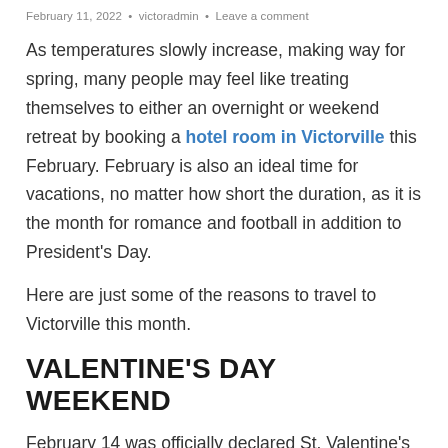February 11, 2022 • victoradmin • Leave a comment
As temperatures slowly increase, making way for spring, many people may feel like treating themselves to either an overnight or weekend retreat by booking a hotel room in Victorville this February. February is also an ideal time for vacations, no matter how short the duration, as it is the month for romance and football in addition to President's Day.
Here are just some of the reasons to travel to Victorville this month.
VALENTINE'S DAY WEEKEND
February 14 was officially declared St. Valentine's Day towards the sixth century and associated with